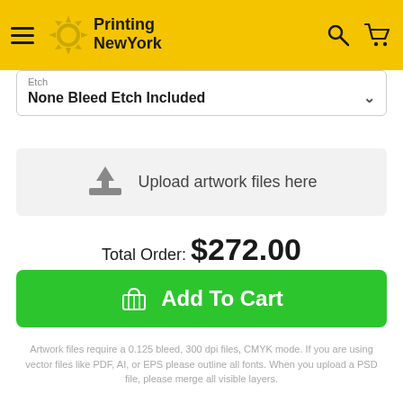[Figure (logo): Printing NewYork logo with sunburst icon on yellow header background, hamburger menu icon on left, search and cart icons on right]
Etch
None Bleed Etch Included
[Figure (other): Upload artwork files here button with upload icon on gray background]
Total Order: $272.00
Add To Cart
Artwork files require a 0.125 bleed, 300 dpi files, CMYK mode. If you are using vector files like PDF, AI, or EPS please outline all fonts. When you upload a PSD file, please merge all visible layers.